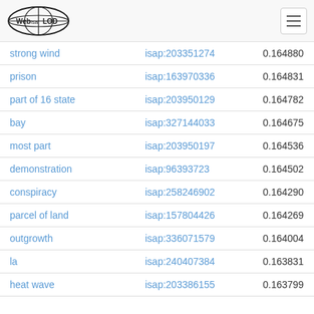Web isa LOD
| strong wind | isap:203351274 | 0.164880 |
| prison | isap:163970336 | 0.164831 |
| part of 16 state | isap:203950129 | 0.164782 |
| bay | isap:327144033 | 0.164675 |
| most part | isap:203950197 | 0.164536 |
| demonstration | isap:96393723 | 0.164502 |
| conspiracy | isap:258246902 | 0.164290 |
| parcel of land | isap:157804426 | 0.164269 |
| outgrowth | isap:336071579 | 0.164004 |
| la | isap:240407384 | 0.163831 |
| heat wave | isap:203386155 | 0.163799 |